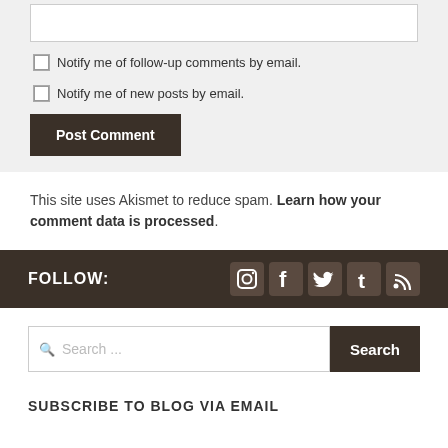Notify me of follow-up comments by email.
Notify me of new posts by email.
Post Comment
This site uses Akismet to reduce spam. Learn how your comment data is processed.
FOLLOW:
[Figure (infographic): Social media icons: Instagram, Facebook, Twitter, Tumblr, RSS feed]
Search ...
Search
SUBSCRIBE TO BLOG VIA EMAIL